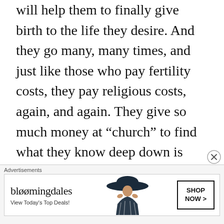will help them to finally give birth to the life they desire. And they go many, many times, and just like those who pay fertility costs, they pay religious costs, again, and again. They give so much money at “church” to find what they know deep down is their God given right. These religious doctors, like the fertility experts, give you a list of things to do in order to give spiritual birth as well. And as much as it hurts, as much as it costs them, they still suffer from the cares of the world, they still have no hope
[Figure (other): Bloomingdale's advertisement banner: logo text 'bloomingdales', subtext 'View Today’s Top Deals!', woman wearing wide-brim hat, and a 'SHOP NOW >' button]